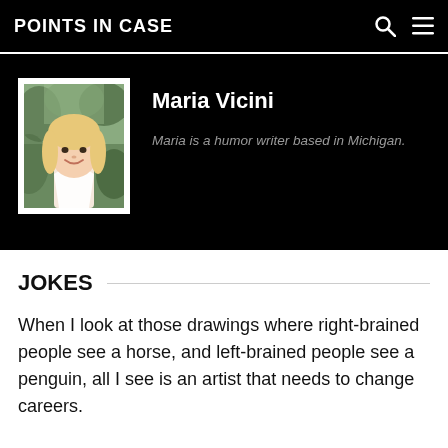POINTS IN CASE
[Figure (photo): Author photo of Maria Vicini, a woman with long blonde hair smiling outdoors with foliage in background, framed with white border]
Maria Vicini
Maria is a humor writer based in Michigan.
JOKES
When I look at those drawings where right-brained people see a horse, and left-brained people see a penguin, all I see is an artist that needs to change careers.